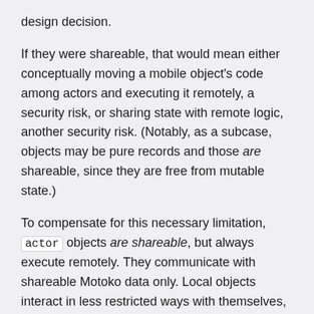design decision.
If they were shareable, that would mean either conceptually moving a mobile object's code among actors and executing it remotely, a security risk, or sharing state with remote logic, another security risk. (Notably, as a subcase, objects may be pure records and those are shareable, since they are free from mutable state.)
To compensate for this necessary limitation, actor objects are shareable, but always execute remotely. They communicate with shareable Motoko data only. Local objects interact in less restricted ways with themselves, and can pass any Motoko data to each other's methods, including other objects. In most other ways, local objects (and classes) are non-shareable counterparts to actor objects (and classes).